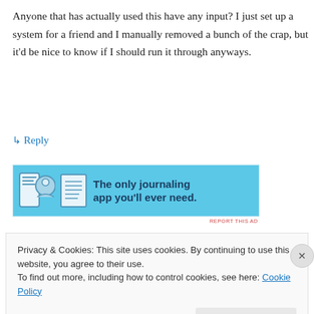Anyone that has actually used this have any input? I just set up a system for a friend and I manually removed a bunch of the crap, but it'd be nice to know if I should run it through anyways.
↳ Reply
[Figure (screenshot): Blue advertisement banner for a journaling app showing icons of a book, person, and notepad with text 'The only journaling app you'll ever need.']
REPORT THIS AD
Privacy & Cookies: This site uses cookies. By continuing to use this website, you agree to their use.
To find out more, including how to control cookies, see here: Cookie Policy
Close and accept